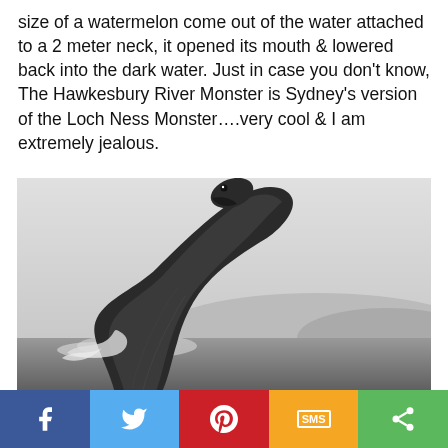size of a watermelon come out of the water attached to a 2 meter neck, it opened its mouth & lowered back into the dark water. Just in case you don't know, The Hawkesbury River Monster is Sydney's version of the Loch Ness Monster....very cool & I am extremely jealous.
[Figure (illustration): Black and white illustration of a long-necked sea creature (plesiosaur-like) resembling the Loch Ness Monster, emerging from dark water with a long curved neck and small head.]
Social sharing bar with Facebook, Twitter, Pinterest, SMS, and Share buttons